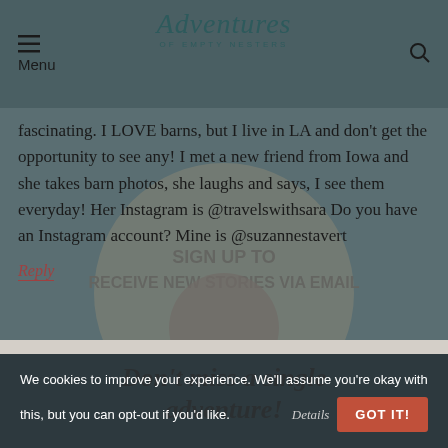Adventures of Empty Nesters
fascinating. I LOVE barns, but I live in LA and don't get the opportunity to see any! I met a new friend from Iowa and she takes barn photos, she laughs and says, I see them everyday! Her Instagram is @travelswithsara Do you have an Instagram account? Mine is @suzannestavert
Reply
Don't miss a single adventure!
We cookies to improve your experience. We'll assume you're okay with this, but you can opt-out if you'd like. Details GOT IT!